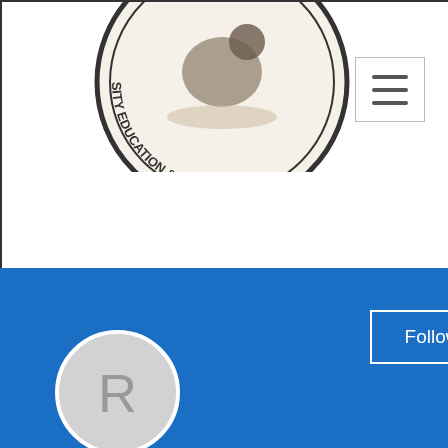[Figure (logo): Circular university/research organization seal partially visible at top of page, with text 'SITY EDUCATION & RESEARCH' around the border and a silhouette figure in the center]
[Figure (screenshot): Hamburger menu icon (three horizontal lines) in a white rounded rectangle box]
[Figure (screenshot): Blue profile banner with Follow button (white outlined) and three-dot menu in white]
[Figure (illustration): Gray circular avatar placeholder with letter R]
Review on bitstarz, битстарз ка...
0 Followers • 0 Following
[Figure (screenshot): Dropdown/filter box with chevron down arrow]
Profile